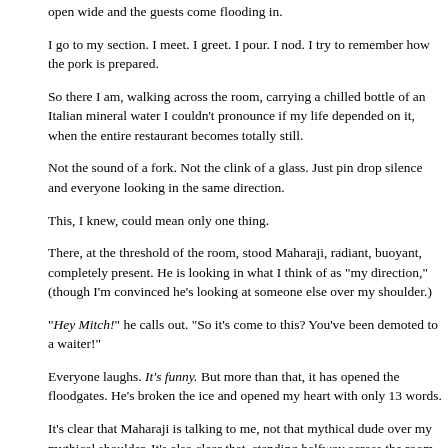And then, before you could say "What are the specials tonight?" the doors open wide and the guests come flooding in.
I go to my section. I meet. I greet. I pour. I nod. I try to remember how the pork is prepared.
So there I am, walking across the room, carrying a chilled bottle of an Italian mineral water I couldn't pronounce if my life depended on it, when the entire restaurant becomes totally still.
Not the sound of a fork. Not the clink of a glass. Just pin drop silence and everyone looking in the same direction.
This, I knew, could mean only one thing.
There, at the threshold of the room, stood Maharaji, radiant, buoyant, completely present. He is looking in what I think of as "my direction," (though I'm convinced he's looking at someone else over my shoulder.)
"Hey Mitch!" he calls out. "So it's come to this? You've been demoted to a waiter!"
Everyone laughs. It's funny. But more than that, it has opened the floodgates. He's broken the ice and opened my heart with only 13 words.
It's clear that Maharaji is talking to me, not that mythical dude over my mythical shoulder. It's also clear that, standing halfway across the room, much too far away to be having a meaningful conversation with him.
I should be closer. Much closer.
And then... I have one of those moments Einstein must have been refe...